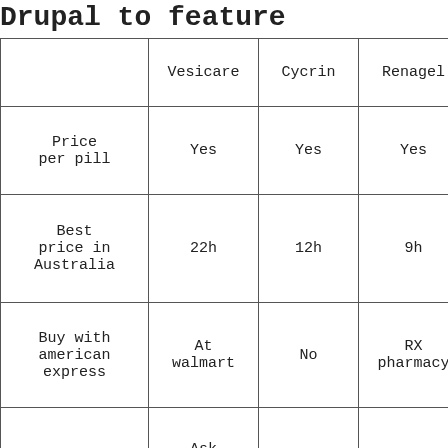|  | Vesicare | Cycrin | Renagel | No…(cut off) |
| --- | --- | --- | --- | --- |
| Price per pill | Yes | Yes | Yes | (cut off) |
| Best price in Australia | 22h | 12h | 9h | (cut off) |
| Buy with american express | At walmart | No | RX pharmacy | Ph…(cut off) |
| For womens | Ask your Doctor | Yes | Yes | Yo… con…(cut off) |